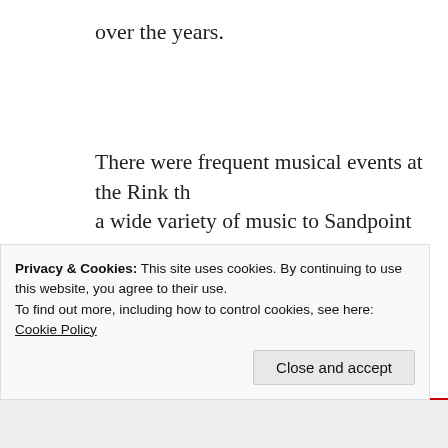over the years.
There were frequent musical events at the Rink that brought a wide variety of music to Sandpoint patrons. The Haines Singing Party performed in October 1907, offering a variety of musical numbers including scenes from the comic opera, “Dolly Varden.” A group of African American musicians, known as the Tennessee Jubilee Singers, blended humor with music to entertain the Rink audience
Privacy & Cookies: This site uses cookies. By continuing to use this website, you agree to their use.
To find out more, including how to control cookies, see here:
Cookie Policy
Close and accept